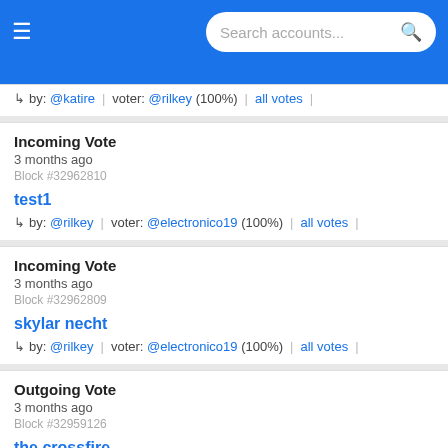Search accounts...
↳ by: @katire | voter: @rilkey (100%) | all votes
Incoming Vote
3 months ago
Block #32962810
test1
↳ by: @rilkey | voter: @electronico19 (100%) | all votes
Incoming Vote
3 months ago
Block #32962809
skylar necht
↳ by: @rilkey | voter: @electronico19 (100%) | all votes
Outgoing Vote
3 months ago
Block #32959126
the crossfire
↳ by: @axeman | voter: @rilkey (100%) | all votes